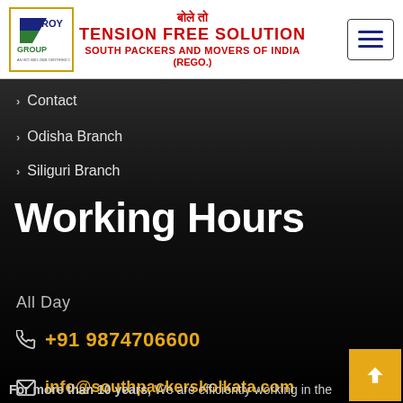[Figure (logo): Roy Group logo with blue and green colors inside a yellow-bordered box]
TENSION FREE SOLUTION SOUTH PACKERS AND MOVERS OF INDIA (REGO.)
Contact
Odisha Branch
Siliguri Branch
Working Hours
All Day
+91 9874706600
info@southpackerskolkata.com
For more than 10 years, We are efficiently working in the